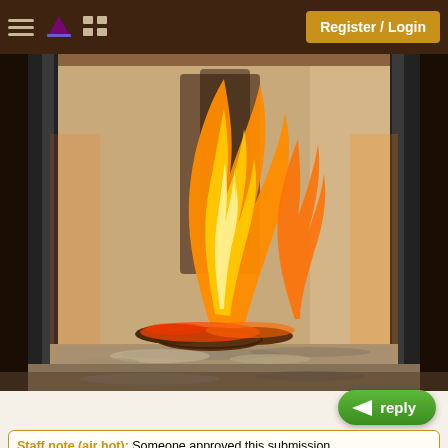Register / Login
[Figure (photo): Close-up photograph of a fireplace with burning wood logs, flames visible, ash and soot on the firebox floor, metal frame visible on the sides.]
reply
Staff note (air hot): Someone approved this submission